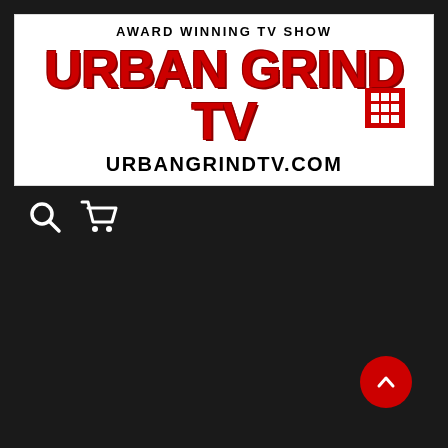[Figure (logo): Urban Grind TV logo banner on white background. Top text: 'AWARD WINNING TV SHOW'. Large red distressed text: 'URBAN GRIND TV' with a red grid icon on the right. Bottom text: 'URBANGRINDTV.COM']
[Figure (other): Navigation icons: search (magnifying glass) and shopping cart, white on dark background]
[Figure (other): Red circular scroll-to-top button with upward chevron arrow in bottom right corner]